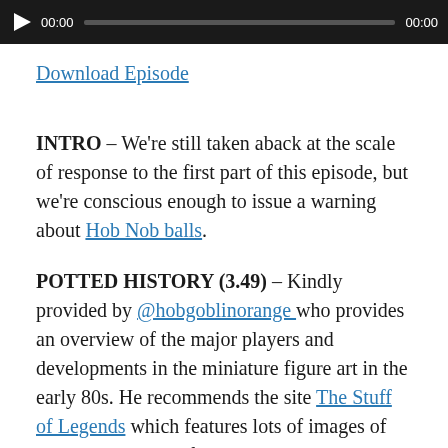[Figure (other): Audio player bar with play button, time display 00:00, progress bar, and end time 00:00]
Download Episode
INTRO – We're still taken aback at the scale of response to the first part of this episode, but we're conscious enough to issue a warning about Hob Nob balls.
POTTED HISTORY (3.49) – Kindly provided by @hobgoblinorange who provides an overview of the major players and developments in the miniature figure art in the early 80s. He recommends the site The Stuff of Legends which features lots of images of Citadel miniatures from back in the day